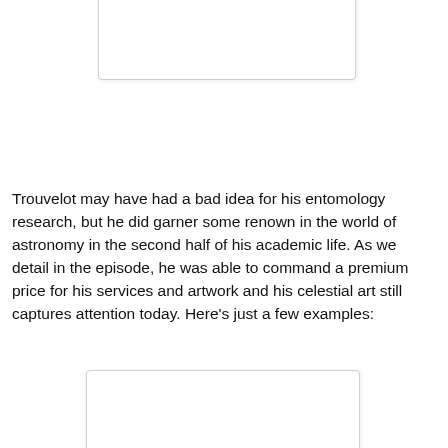[Figure (photo): White/blank image placeholder at the top of the page]
Trouvelot may have had a bad idea for his entomology research, but he did garner some renown in the world of astronomy in the second half of his academic life. As we detail in the episode, he was able to command a premium price for his services and artwork and his celestial art still captures attention today. Here's just a few examples:
[Figure (photo): White/blank image placeholder at the bottom of the page]